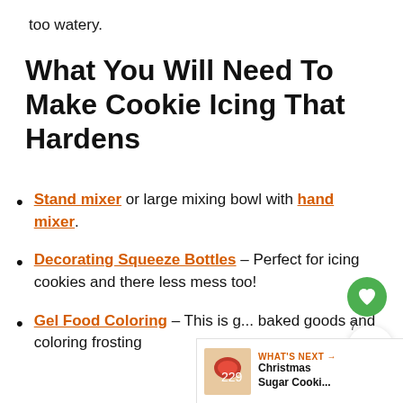too watery.
What You Will Need To Make Cookie Icing That Hardens
Stand mixer or large mixing bowl with hand mixer.
Decorating Squeeze Bottles – Perfect for icing cookies and there less mess too!
Gel Food Coloring – This is g... baked goods and coloring frosting